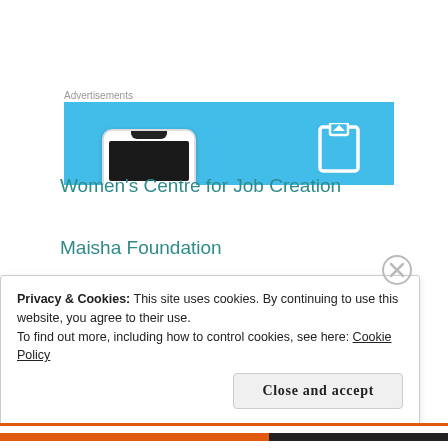[Figure (screenshot): Advertisement banner with blue background showing a smartphone mockup and a book/reading icon]
Women's Centre for Job Creation
Maisha Foundation
Privacy & Cookies: This site uses cookies. By continuing to use this website, you agree to their use.
To find out more, including how to control cookies, see here: Cookie Policy
Close and accept